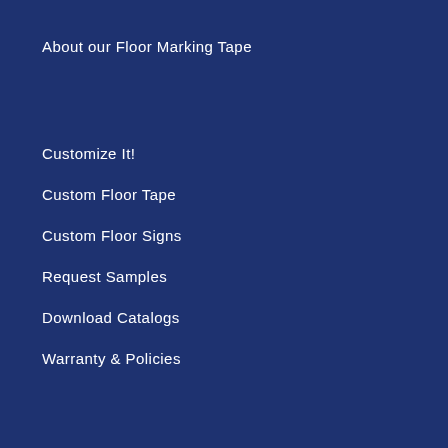About our Floor Marking Tape
Customize It!
Custom Floor Tape
Custom Floor Signs
Request Samples
Download Catalogs
Warranty & Policies